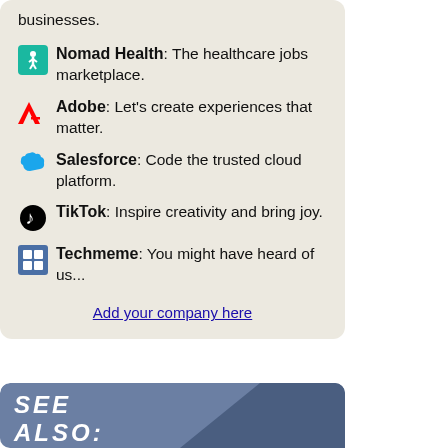businesses.
Nomad Health: The healthcare jobs marketplace.
Adobe: Let's create experiences that matter.
Salesforce: Code the trusted cloud platform.
TikTok: Inspire creativity and bring joy.
Techmeme: You might have heard of us...
Add your company here
[Figure (other): SEE ALSO: banner/label graphic in blue-gray]